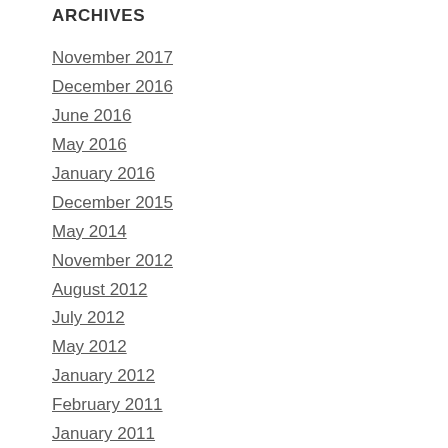ARCHIVES
November 2017
December 2016
June 2016
May 2016
January 2016
December 2015
May 2014
November 2012
August 2012
July 2012
May 2012
January 2012
February 2011
January 2011
September 2010
April 2010
February 2010